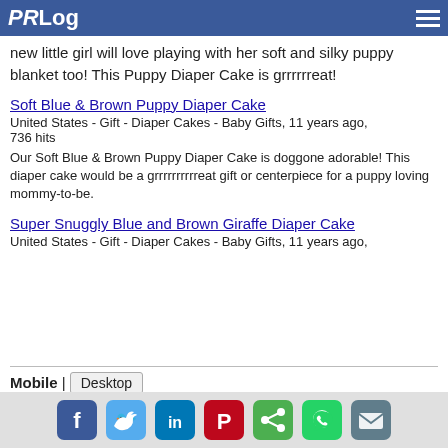PRLog
new little girl will love playing with her soft and silky puppy blanket too! This Puppy Diaper Cake is grrrrrreat!
Soft Blue & Brown Puppy Diaper Cake
United States - Gift - Diaper Cakes - Baby Gifts, 11 years ago, 736 hits
Our Soft Blue & Brown Puppy Diaper Cake is doggone adorable! This diaper cake would be a grrrrrrrrrreat gift or centerpiece for a puppy loving mommy-to-be.
Super Snuggly Blue and Brown Giraffe Diaper Cake
United States - Gift - Diaper Cakes - Baby Gifts, 11 years ago,
Mobile | Desktop
Home | Latest Press Releases | Feeds | Get Alerts | Journalist Account | PR Newswire Distribution | Privacy | TOS | Contact | Copyright | About
[Figure (infographic): Social media share icons row: Facebook, Twitter, LinkedIn, Pinterest, Share, WhatsApp, Email]